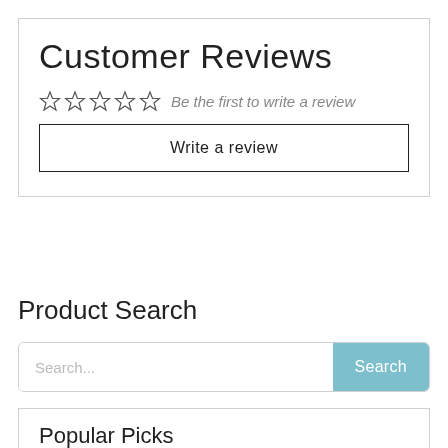Customer Reviews
☆☆☆☆☆  Be the first to write a review
Write a review
Product Search
Search...
Popular Picks